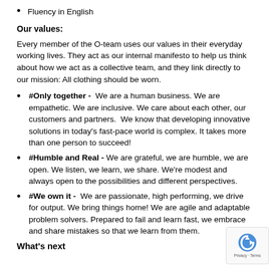Fluency in English
Our values:
Every member of the O-team uses our values in their everyday working lives. They act as our internal manifesto to help us think about how we act as a collective team, and they link directly to our mission: All clothing should be worn.
#Only together - We are a human business. We are empathetic. We are inclusive. We care about each other, our customers and partners. We know that developing innovative solutions in today's fast-pace world is complex. It takes more than one person to succeed!
#Humble and Real - We are grateful, we are humble, we are open. We listen, we learn, we share. We're modest and always open to the possibilities and different perspectives.
#We own it - We are passionate, high performing, we drive for output. We bring things home! We are agile and adaptable problem solvers. Prepared to fail and learn fast, we embrace and share mistakes so that we learn from them.
What's next